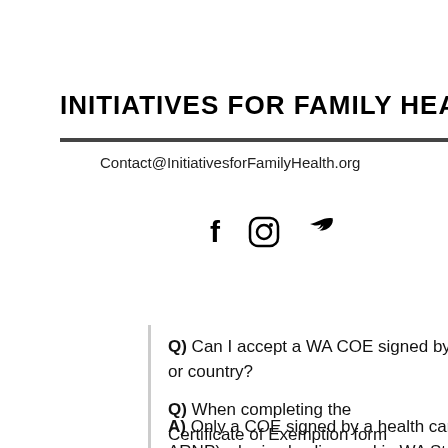out fill
INITIATIVES FOR FAMILY HEALTH
Contact@InitiativesforFamilyHealth.org
[Figure (other): Social media icons: Facebook (f), Instagram, Twitter (bird)]
e gov
Q) Can I accept a WA COE signed by a health care provider in another state or country?
A) Only a COE signed by a health care practitioners (MD, DO, NP, PA or ARNP) who is also licensed in WA State is acceptable. RCW 28A.210.090
Q) When completing the Certificate of Exemption form